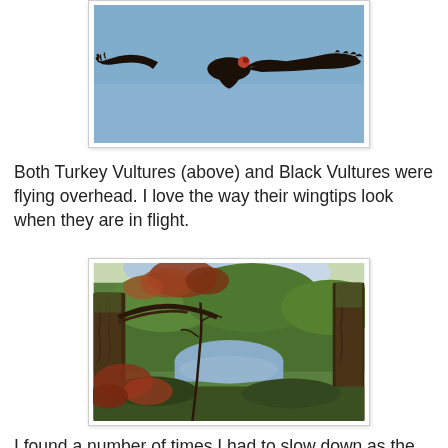[Figure (photo): A Turkey Vulture soaring in a clear blue sky with wings fully spread, showing dark brown plumage and spread wingtip feathers.]
Both Turkey Vultures (above) and Black Vultures were flying overhead. I love the way their wingtips look when they are in flight.
[Figure (photo): A forested scene with tall trees in the foreground, red and green autumn leaves, and a still reflective pond or stream visible in the background surrounded by lush greenery.]
I found a number of times I had to slow down as the